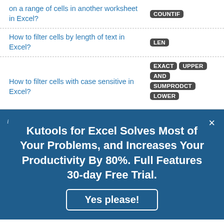on a range of cells in another worksheet in Excel?
COUNTIF
How to filter cells by length of text in Excel?
LEN
How to filter cells with case sensitive in Excel?
EXACT UPPER AND SUMPRODCT LOWER
[Figure (screenshot): Advertisement banner for Kutools for Excel with blue background, title text 'Kutools for Excel Solves Most of Your Problems, and Increases Your Productivity By 80%. Full Features 30-day Free Trial.' and a 'Yes please!' button.]